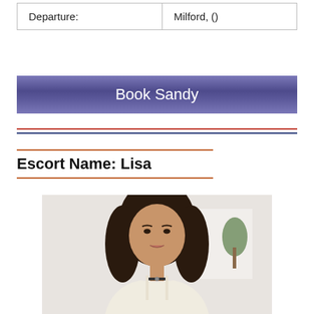| Departure: | Milford, () |
Book Sandy
Escort Name: Lisa
[Figure (photo): Portrait photo of a young woman with long dark brown hair, wearing a white top with thin straps and a choker necklace, photographed indoors against a light background.]